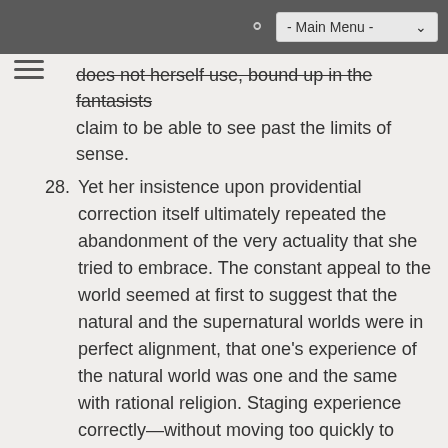- Main Menu -
does not herself use, bound up in the fantasist's claim to be able to see past the limits of sense.
28. Yet her insistence upon providential correction itself ultimately repeated the abandonment of the very actuality that she tried to embrace. The constant appeal to the world seemed at first to suggest that the natural and the supernatural worlds were in perfect alignment, that one's experience of the natural world was one and the same with rational religion. Staging experience correctly—without moving too quickly to play the religious trump card—ought to make it possible for individuals to develop their characters virtuously because rationally. But at the same time the invocation of a system of judgments—even as they were said to show the continuing interchange between the actual